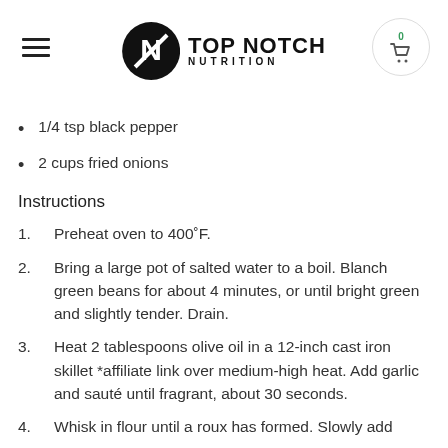TOP NOTCH NUTRITION
1/4 tsp black pepper
2 cups fried onions
Instructions
1. Preheat oven to 400˚F.
2. Bring a large pot of salted water to a boil. Blanch green beans for about 4 minutes, or until bright green and slightly tender. Drain.
3. Heat 2 tablespoons olive oil in a 12-inch cast iron skillet *affiliate link over medium-high heat. Add garlic and sauté until fragrant, about 30 seconds.
4. Whisk in flour until a roux has formed. Slowly add